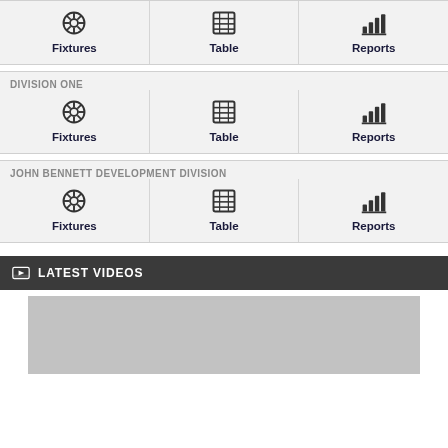[Figure (screenshot): Top navigation row (partial, cropped) with Fixtures, Table, Reports icons]
DIVISION ONE
[Figure (screenshot): Division One navigation row with Fixtures, Table, Reports icons]
JOHN BENNETT DEVELOPMENT DIVISION
[Figure (screenshot): John Bennett Development Division navigation row with Fixtures, Table, Reports icons]
LATEST VIDEOS
[Figure (screenshot): Latest video thumbnail placeholder (grey rectangle)]